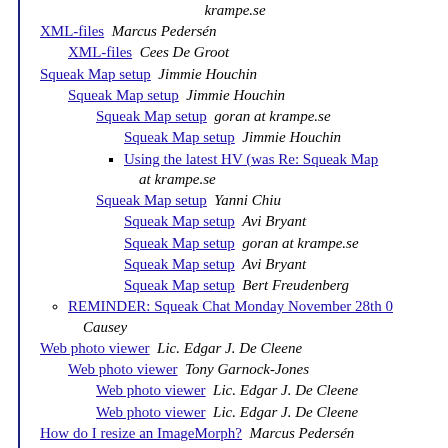XML-files  Marcus Pedersén
XML-files  Cees De Groot
Squeak Map setup  Jimmie Houchin
Squeak Map setup  Jimmie Houchin
Squeak Map setup  goran at krampe.se
Squeak Map setup  Jimmie Houchin
Using the latest HV (was Re: Squeak Map...  at krampe.se
Squeak Map setup  Yanni Chiu
Squeak Map setup  Avi Bryant
Squeak Map setup  goran at krampe.se
Squeak Map setup  Avi Bryant
Squeak Map setup  Bert Freudenberg
REMINDER: Squeak Chat Monday November 28th 0...  Causey
Web photo viewer  Lic. Edgar J. De Cleene
Web photo viewer  Tony Garnock-Jones
Web photo viewer  Lic. Edgar J. De Cleene
Web photo viewer  Lic. Edgar J. De Cleene
How do I resize an ImageMorph?  Marcus Pedersén
How do I resize an ImageMorph?  Lic. Edgar J. De C...
How do I resize an ImageMorph?  Bert F...
How do I resize an ImageMorph?  karl
Setting fonts, disappering flap, 6703 + 6704  paul pro...
Setting fonts, disappering flap, 6703 + 6704  Li...